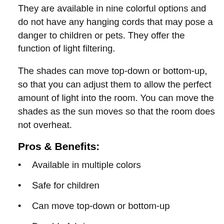They are available in nine colorful options and do not have any hanging cords that may pose a danger to children or pets. They offer the function of light filtering.
The shades can move top-down or bottom-up, so that you can adjust them to allow the perfect amount of light into the room. You can move the shades as the sun moves so that the room does not overheat.
Pros & Benefits:
Available in multiple colors
Safe for children
Can move top-down or bottom-up
Durable fabric